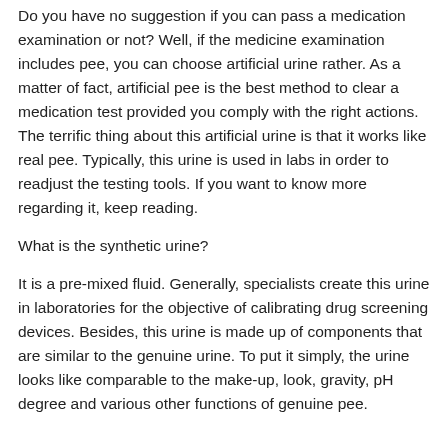Do you have no suggestion if you can pass a medication examination or not? Well, if the medicine examination includes pee, you can choose artificial urine rather. As a matter of fact, artificial pee is the best method to clear a medication test provided you comply with the right actions. The terrific thing about this artificial urine is that it works like real pee. Typically, this urine is used in labs in order to readjust the testing tools. If you want to know more regarding it, keep reading.
What is the synthetic urine?
It is a pre-mixed fluid. Generally, specialists create this urine in laboratories for the objective of calibrating drug screening devices. Besides, this urine is made up of components that are similar to the genuine urine. To put it simply, the urine looks like comparable to the make-up, look, gravity, pH degree and various other functions of genuine pee.